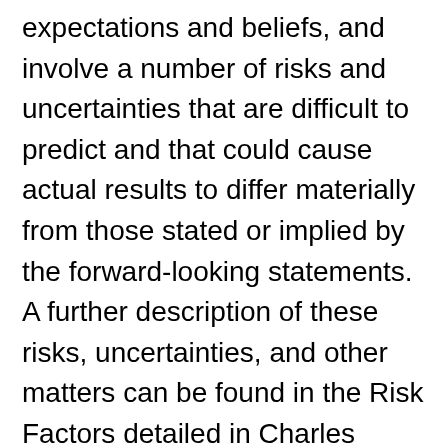expectations and beliefs, and involve a number of risks and uncertainties that are difficult to predict and that could cause actual results to differ materially from those stated or implied by the forward-looking statements. A further description of these risks, uncertainties, and other matters can be found in the Risk Factors detailed in Charles River's Annual Report on Form 10-K as filed on February 14, 2017, as well as other filings we make with the Securities and Exchange Commission. Because forward-looking statements involve risks and uncertainties, actual results and events may differ materially from results and events currently expected by Charles River, and Charles River assumes no obligation and expressly disclaims any duty to update information contained in this press release or to revise any of the